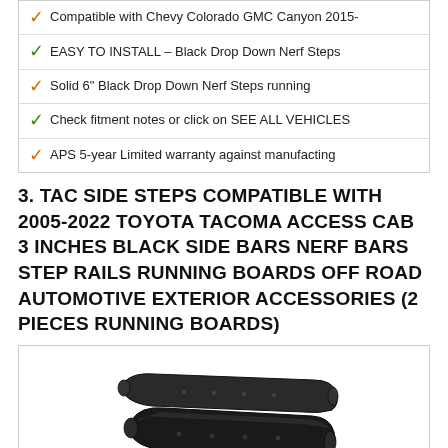Compatible with Chevy Colorado GMC Canyon 2015-
EASY TO INSTALL – Black Drop Down Nerf Steps
Solid 6" Black Drop Down Nerf Steps running
Check fitment notes or click on SEE ALL VEHICLES
APS 5-year Limited warranty against manufacting
3. TAC SIDE STEPS COMPATIBLE WITH 2005-2022 TOYOTA TACOMA ACCESS CAB 3 INCHES BLACK SIDE BARS NERF BARS STEP RAILS RUNNING BOARDS OFF ROAD AUTOMOTIVE EXTERIOR ACCESSORIES (2 PIECES RUNNING BOARDS)
[Figure (photo): Two black curved side step bars / nerf bars for a Toyota Tacoma, shown on a white background inside a bordered box.]